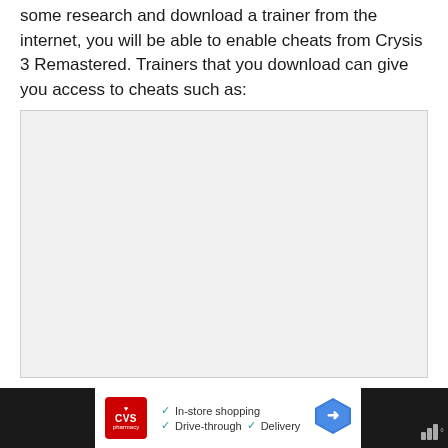some research and download a trainer from the internet, you will be able to enable cheats from Crysis 3 Remastered. Trainers that you download can give you access to cheats such as:
[Figure (other): Large empty gray box placeholder area below the main text]
[Figure (other): Advertisement banner: CVS Pharmacy ad with In-store shopping, Drive-through, Delivery checkmarks, navigation arrow icon, and weather widget on dark background]